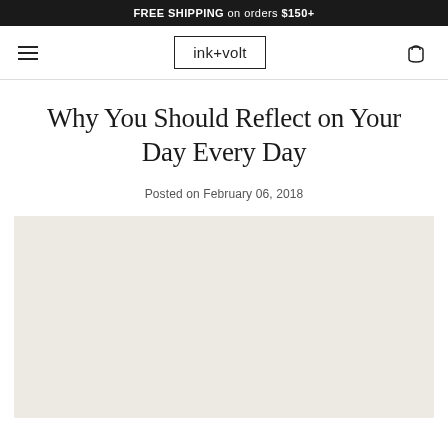FREE SHIPPING on orders $150+
[Figure (logo): ink+volt logo in a rectangular border, with hamburger menu on the left and cart icon on the right]
Why You Should Reflect on Your Day Every Day
Posted on February 06, 2018
[Figure (photo): Large beige/off-white rectangular placeholder image for article hero photo]